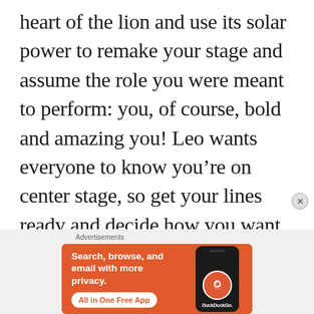heart of the lion and use its solar power to remake your stage and assume the role you were meant to perform: you, of course, bold and amazing you! Leo wants everyone to know you’re on center stage, so get your lines ready and decide how you want the play to carry you into January
[Figure (other): DuckDuckGo advertisement banner with orange background. Text reads: 'Search, browse, and email with more privacy. All in One Free App' with a phone showing the DuckDuckGo app icon.]